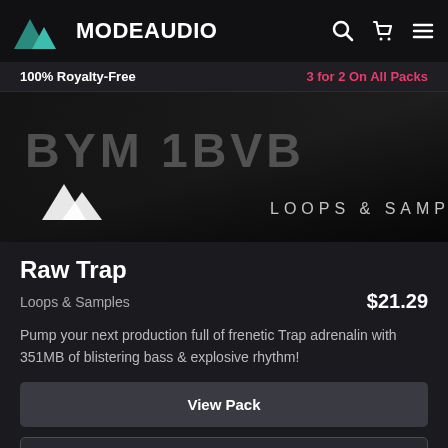MODE AUDIO
100% Royalty-Free    3 for 2 On All Packs
[Figure (photo): Dark product banner image for Raw Trap sample pack showing stylized text 'BYM 1BVB' and 'LOOPS & SAMPLES' with ModeAudio logo triangles on a dark grunge background]
Raw Trap
Loops & Samples    $21.29
Pump your next production full of frenetic Trap adrenalin with 351MB of blistering bass & explosive rhythm!
View Pack
Play Demo